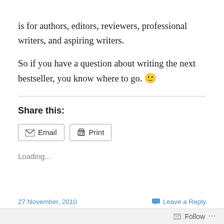is for authors, editors, reviewers, professional writers, and aspiring writers.
So if you have a question about writing the next bestseller, you know where to go. 🙂
Share this:
Email   Print
Loading...
27 November, 2010   Leave a Reply   Follow ...